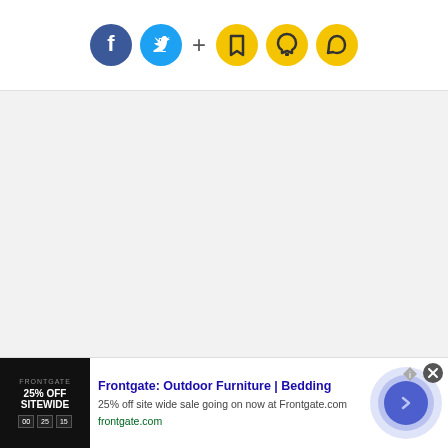[Figure (screenshot): Social media toolbar with Facebook (blue circle), Twitter (cyan circle), plus sign, bookmark icon (yellow circle), bell/notification icon (yellow circle), and chat bubble icon (yellow circle)]
[Figure (screenshot): Large gray blank content area]
[Figure (screenshot): Advertisement banner for Frontgate: Outdoor Furniture and Bedding. Shows '25% OFF SITEWIDE' ad image on left, title text 'Frontgate: Outdoor Furniture | Bedding', description '25% off site wide sale going on now at Frontgate.com', URL 'frontgate.com', with a circular CTA button on the right.]